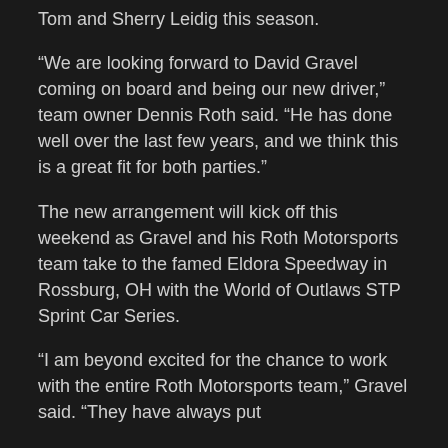Tom and Sherry Leidig this season.
“We are looking forward to David Gravel coming on board and being our new driver,” team owner Dennis Roth said. “He has done well over the last few years, and we think this is a great fit for both parties.”
The new arrangement will kick off this weekend as Gravel and his Roth Motorsports team take to the famed Eldora Speedway in Rossburg, OH with the World of Outlaws STP Sprint Car Series.
“I am beyond excited for the chance to work with the entire Roth Motorsports team,” Gravel said. “They have always put